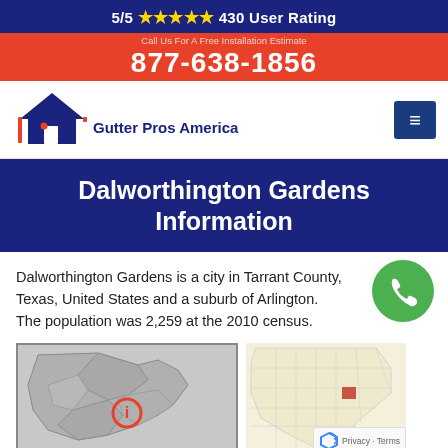5/5 ★★★★★ 430 User Rating
877-638-1856
[Figure (logo): Gutter Pros America logo with house icon and text]
Dalworthington Gardens Information
Dalworthington Gardens is a city in Tarrant County, Texas, United States and a suburb of Arlington. The population was 2,259 at the 2010 census.
[Figure (map): Map showing Dalworthington Gardens location in Tarrant County area]
[Figure (map): Map of Texas showing county location highlighted]